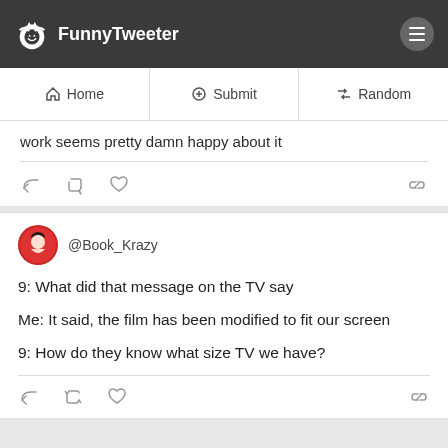FunnyTweeter
Home | Submit | Random
work seems pretty damn happy about it
@Book_Krazy

9: What did that message on the TV say

Me: It said, the film has been modified to fit our screen

9: How do they know what size TV we have?